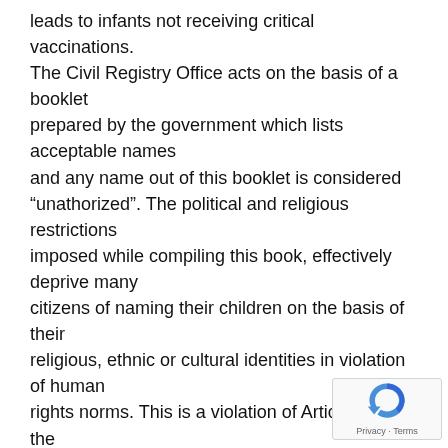leads to infants not receiving critical vaccinations. The Civil Registry Office acts on the basis of a booklet prepared by the government which lists acceptable names and any name out of this booklet is considered “unathorized”. The political and religious restrictions imposed while compiling this book, effectively deprive many citizens of naming their children on the basis of their religious, ethnic or cultural identities in violation of human rights norms. This is a violation of Article 7.1, of the Convention on the Rights of the Child which states: “The child shall be registered immediately after birth and shall have the right from birth to a name, the right to acquire a nationality and as far as possible, the right to know and be cared for by his or her parents.” In the past 12 months, at least 6 children have been deprived of receiving Identification documents because of the non-Persian name under which the child was